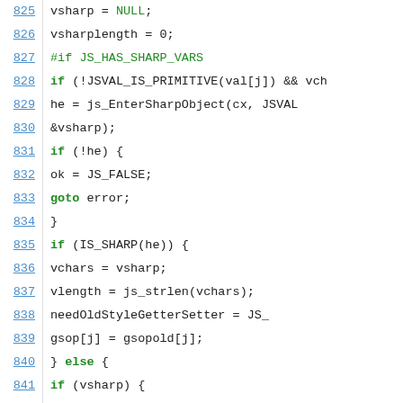[Figure (screenshot): Source code listing showing lines 825-847 of a C/JavaScript engine file, with line numbers in blue on the left and syntax-highlighted code on the right. Keywords and preprocessor directives are in green.]